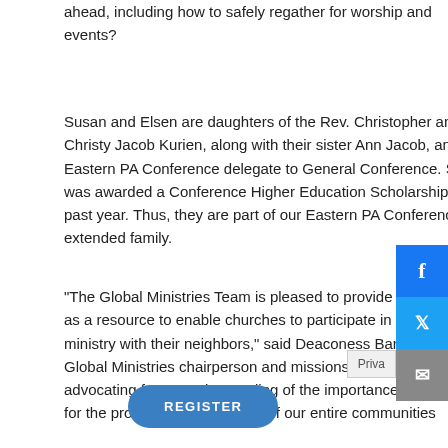ahead, including how to safely regather for worship and events?
Susan and Elsen are daughters of the Rev. Christopher and Christy Jacob Kurien, along with their sister Ann Jacob, an Eastern PA Conference delegate to General Conference. Susan was awarded a Conference Higher Education Scholarship this past year. Thus, they are part of our Eastern PA Conference extended family.
"The Global Ministries Team is pleased to provide this program as a resource to enable churches to participate in health ministry with their neighbors," said Deaconess Barbara Drake, Global Ministries chairperson and missions secretary. "We are advocating for an understanding of the importance of vaccines for the protection of the health of our entire communities
REGISTER